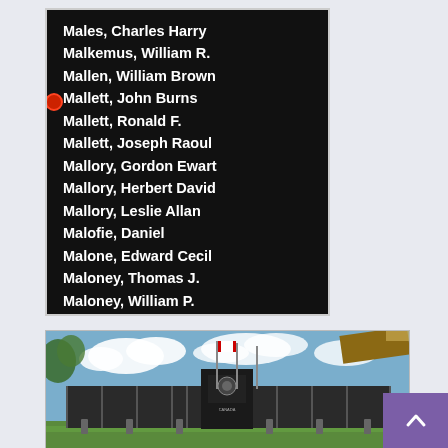[Figure (photo): Dark stone memorial panel with white engraved names of fallen soldiers. Names listed: Males, Charles Harry; Malkemus, William R.; Mallen, William Brown; Mallett, John Burns (marked with red poppy); Mallett, Ronald F.; Mallett, Joseph Raoul; Mallory, Gordon Ewart; Mallory, Herbert David; Mallory, Leslie Allan; Malofie, Daniel; Malone, Edward Cecil; Maloney, Thomas J.; Maloney, William P.]
[Figure (photo): Outdoor photo of a Canadian military memorial wall/monument with black granite panels, flagpoles flying Canadian flags, blue sky with clouds, and aircraft wing tip visible in upper right corner.]